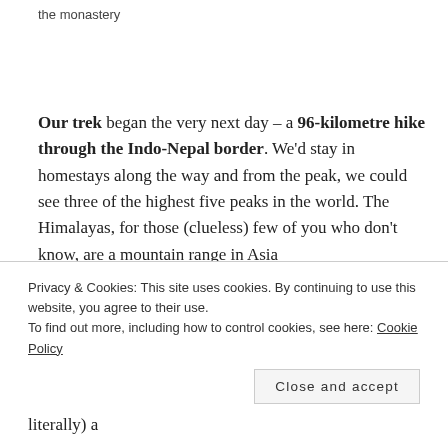the monastery
Our trek began the very next day – a 96-kilometre hike through the Indo-Nepal border. We'd stay in homestays along the way and from the peak, we could see three of the highest five peaks in the world. The Himalayas, for those (clueless) few of you who don't know, are a mountain range in Asia
Privacy & Cookies: This site uses cookies. By continuing to use this website, you agree to their use.
To find out more, including how to control cookies, see here: Cookie Policy
Close and accept
literally) a